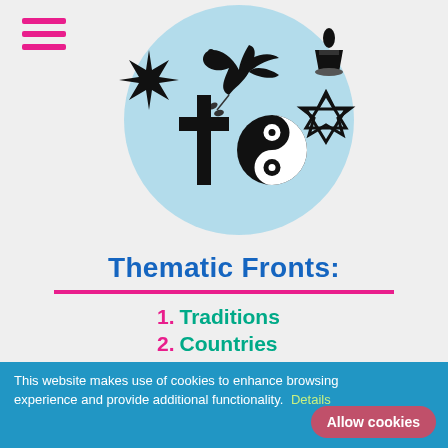[Figure (illustration): Circular illustration with various religious symbols including a dove, cross, yin-yang, Star of David, Bahá'í star, candle, and crescent moon on a light blue background]
Thematic Fronts:
1. Traditions
2. Countries
3. Authors
4. Buddhas
5. Sūtras
6. Philosophy
This website makes use of cookies to enhance browsing experience and provide additional functionality. Details
Allow cookies